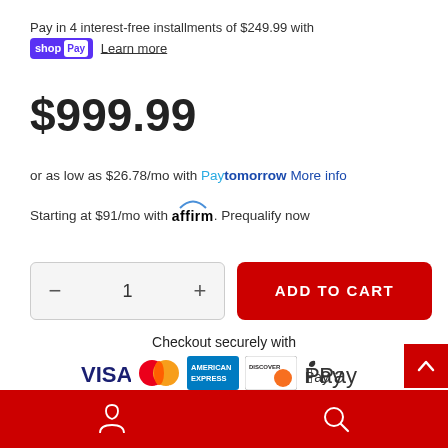Pay in 4 interest-free installments of $249.99 with shop Pay Learn more
$999.99
or as low as $26.78/mo with Paytomorrow More info
Starting at $91/mo with affirm. Prequalify now
- 1 + ADD TO CART
Checkout securely with
[Figure (other): Payment icons: VISA, Mastercard, American Express, Discover, Apple Pay]